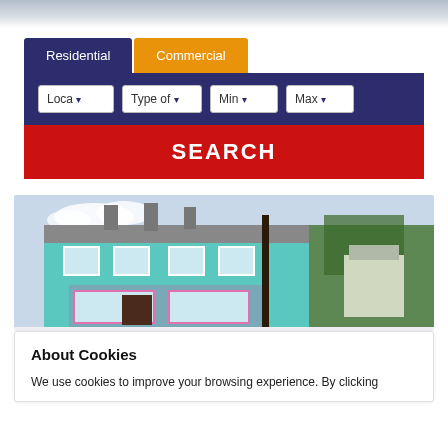[Figure (screenshot): Website screenshot showing a property search widget with Residential and Commercial tabs, filter dropdowns (Location, Type of, Min, Max), a red SEARCH button, a listing photo of a teal/blue building, and a cookie consent overlay reading 'About Cookies - We use cookies to improve your browsing experience. By clicking']
Residential | Commercial
Loca ▾   Type of ▾   Min ▾   Max ▾
SEARCH
About Cookies
We use cookies to improve your browsing experience. By clicking